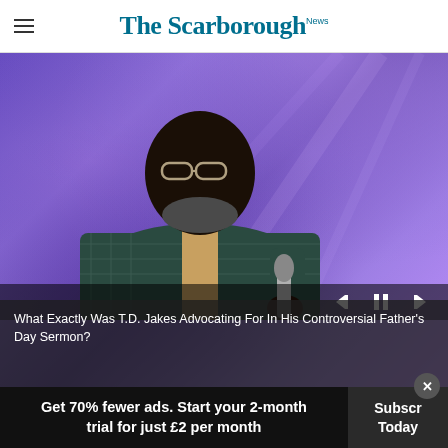The Scarborough News
[Figure (photo): A man in a plaid blazer speaking into a microphone against a purple/blue lit background, appearing to be T.D. Jakes preaching. Video player controls (skip back, pause, skip forward) visible at bottom right.]
What Exactly Was T.D. Jakes Advocating For In His Controversial Father's Day Sermon?
Get 70% fewer ads. Start your 2-month trial for just £2 per month
Subscribe Today